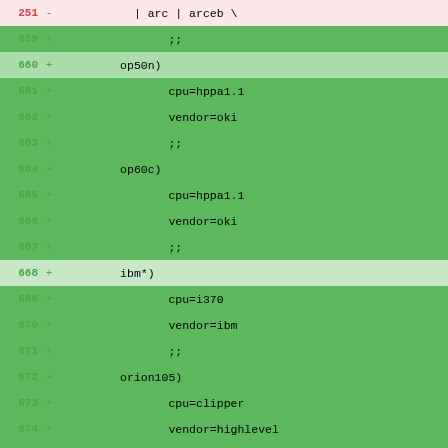Diff/patch view of code changes showing line additions (+) and removals (-) for architecture/platform configuration entries in a build system (likely autoconf/configure script). Lines 251-260 are removals (red), lines 659-678 are additions (green).